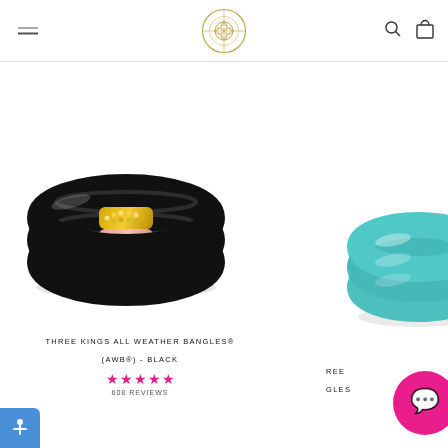[Figure (logo): BuDha Girl brand logo - circular ornamental symbol in gold outline]
[Figure (photo): Three stacked black bangles with gold, rose gold, and silver crystal embellishments in the center - Three Kings All Weather Bangles in Black]
THREE KINGS ALL WEATHER BANGLES® (AWB®) - BLACK
608 REVIEWS
[Figure (photo): Partial view of teal/turquoise bangles on the right side, partially cropped]